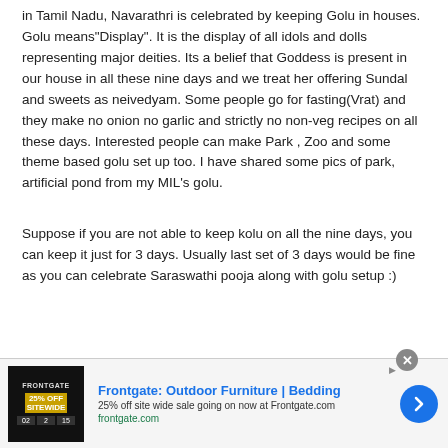in Tamil Nadu, Navarathri is celebrated by keeping Golu in houses. Golu means"Display". It is the display of all idols and dolls representing major deities. Its a belief that Goddess is present in our house in all these nine days and we treat her offering Sundal and sweets as neivedyam. Some people go for fasting(Vrat) and they make no onion no garlic and strictly no non-veg recipes on all these days. Interested people can make Park , Zoo and some theme based golu set up too. I have shared some pics of park, artificial pond from my MIL's golu.
Suppose if you are not able to keep kolu on all the nine days, you can keep it just for 3 days. Usually last set of 3 days would be fine as you can celebrate Saraswathi pooja along with golu setup :)
[Figure (other): Advertisement banner for Frontgate: Outdoor Furniture | Bedding. Shows 25% off site wide sale going on now at Frontgate.com. Includes store image showing 25% OFF SITEWIDE text with countdown timer. Has a blue arrow button on the right.]